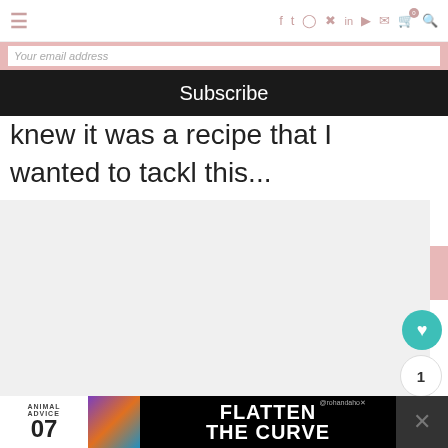≡  f  twitter  instagram  pinterest  in  youtube  mail  cart(0)  search
Your email address
Subscribe
knew it was a recipe that I wanted to tackl this...
[Figure (photo): Light gray image placeholder area for a recipe photo]
[Figure (infographic): Advertisement banner: ANIMAL ADVICE 07 FLATTEN THE CURVE @rohandaho with colorful illustration]